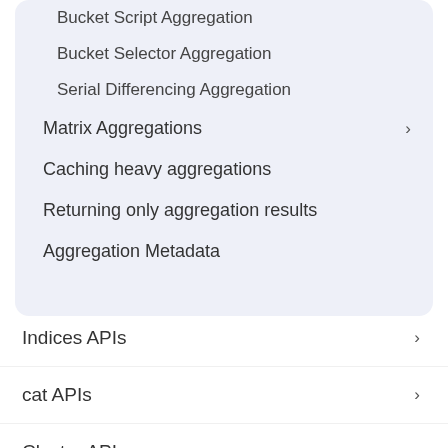Bucket Script Aggregation
Bucket Selector Aggregation
Serial Differencing Aggregation
Matrix Aggregations
Caching heavy aggregations
Returning only aggregation results
Aggregation Metadata
Indices APIs
cat APIs
Cluster APIs
Query DSL
Mapping